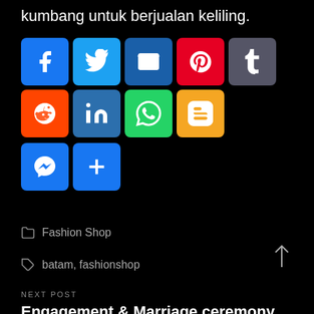kumbang untuk berjualan keliling.
[Figure (infographic): Social sharing icon buttons: Facebook, Twitter, Email, Pinterest, Tumblr, Reddit, LinkedIn, WhatsApp, Blogger, Messenger, Share (plus)]
Fashion Shop
batam, fashionshop
NEXT POST
Engagement & Marriage ceremony Rings
PREV POST
Red Carpet